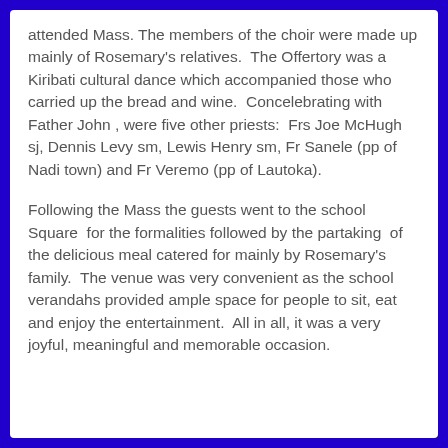attended Mass. The members of the choir were made up mainly of Rosemary's relatives.  The Offertory was a Kiribati cultural dance which accompanied those who carried up the bread and wine.  Concelebrating with Father John , were five other priests:  Frs Joe McHugh sj, Dennis Levy sm, Lewis Henry sm, Fr Sanele (pp of Nadi town) and Fr Veremo (pp of Lautoka).
Following the Mass the guests went to the school Square  for the formalities followed by the partaking  of the delicious meal catered for mainly by Rosemary's family.  The venue was very convenient as the school verandahs provided ample space for people to sit, eat and enjoy the entertainment.  All in all, it was a very joyful, meaningful and memorable occasion.